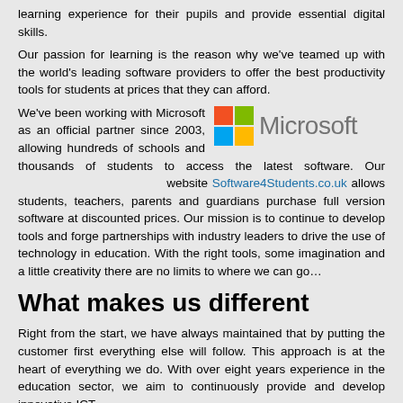learning experience for their pupils and provide essential digital skills.
Our passion for learning is the reason why we've teamed up with the world's leading software providers to offer the best productivity tools for students at prices that they can afford. We've been working with Microsoft as an official partner since 2003, allowing hundreds of schools and thousands of students to access the latest software. Our website Software4Students.co.uk allows students, teachers, parents and guardians purchase full version software at discounted prices. Our mission is to continue to develop tools and forge partnerships with industry leaders to drive the use of technology in education. With the right tools, some imagination and a little creativity there are no limits to where we can go…
[Figure (logo): Microsoft logo with four colored squares (red, green, blue, yellow) and the word Microsoft in gray]
What makes us different
Right from the start, we have always maintained that by putting the customer first everything else will follow. This approach is at the heart of everything we do. With over eight years experience in the education sector, we aim to continuously provide and develop innovative ICT